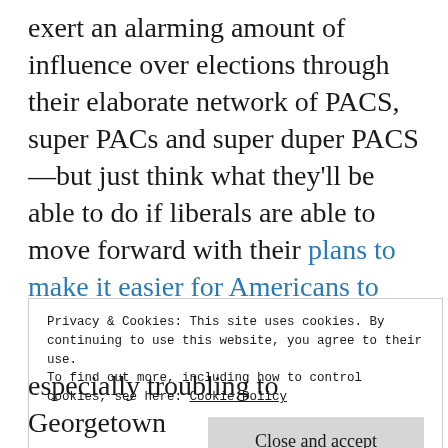exert an alarming amount of influence over elections through their elaborate network of PACS, super PACs and super duper PACS—but just think what they'll be able to do if liberals are able to move forward with their plans to make it easier for Americans to cast their ballots. Now that liberals are pushing for early voting, automatic registration and Get-Out-the-Vote drives, it's going to be even harder to keep power-
Privacy & Cookies: This site uses cookies. By continuing to use this website, you agree to their use. To find out more, including how to control cookies, see here: Cookie Policy
especially troubling to Georgetown